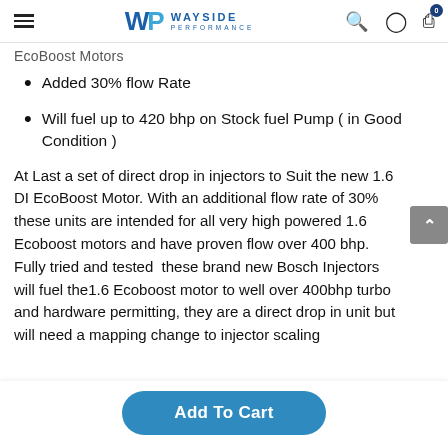Wayside Performance — navigation header with logo, search, user, and cart icons
EcoBoost Motors
Added 30% flow Rate
Will fuel up to 420 bhp on Stock fuel Pump ( in Good Condition )
At Last a set of direct drop in injectors to Suit the new 1.6 DI EcoBoost Motor. With an additional flow rate of 30% these units are intended for all very high powered 1.6 Ecoboost motors and have proven flow over 400 bhp. Fully tried and tested  these brand new Bosch Injectors will fuel the1.6 Ecoboost motor to well over 400bhp turbo and hardware permitting, they are a direct drop in unit but will need a mapping change to injector scaling